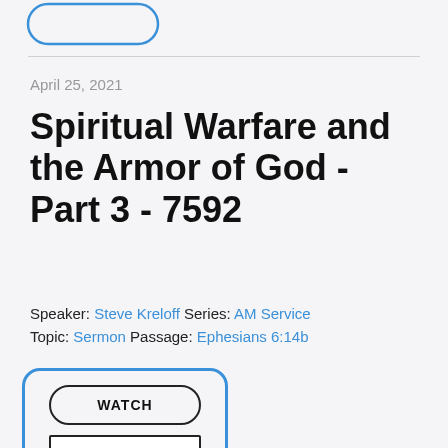[Figure (illustration): Partial blue rounded rectangle button outline visible at top of page]
April 25, 2021
Spiritual Warfare and the Armor of God - Part 3 - 7592
Speaker: Steve Kreloff Series: AM Service
Topic: Sermon Passage: Ephesians 6:14b
[Figure (illustration): Blue rounded rectangle card with WATCH button (rounded outline) and LISTEN button (square outline)]